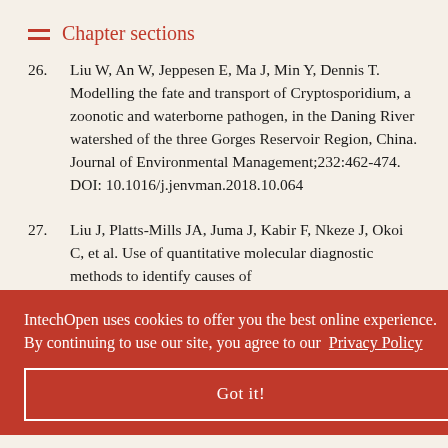Chapter sections
26. Liu W, An W, Jeppesen E, Ma J, Min Y, Dennis T. Modelling the fate and transport of Cryptosporidium, a zoonotic and waterborne pathogen, in the Daning River watershed of the three Gorges Reservoir Region, China. Journal of Environmental Management;232:462-474. DOI: 10.1016/j.jenvman.2018.10.064
27. Liu J, Platts-Mills JA, Juma J, Kabir F, Nkeze J, Okoi C, et al. Use of quantitative molecular diagnostic methods to identify causes of diarrhoea in children: reanalysis of the GEMS case-control study. Lancet 2016;388:1291-1301. DOI: 10.1016/S0140-6736(16)31529-X
IntechOpen uses cookies to offer you the best online experience. By continuing to use our site, you agree to our Privacy Policy
Got it!